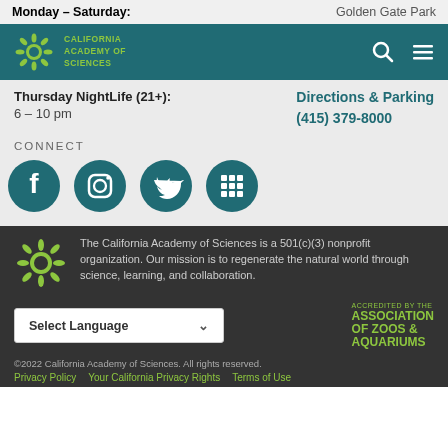Monday – Saturday:
Golden Gate Park
[Figure (logo): California Academy of Sciences logo with teal navigation bar, search icon and hamburger menu]
Thursday NightLife (21+):
6 – 10 pm
Directions & Parking
(415) 379-8000
CONNECT
[Figure (infographic): Four teal circular social media icons: Facebook, Instagram, Twitter, and a grid/apps icon]
[Figure (logo): California Academy of Sciences sunflower logo in olive/green color]
The California Academy of Sciences is a 501(c)(3) nonprofit organization. Our mission is to regenerate the natural world through science, learning, and collaboration.
Select Language
[Figure (logo): Accredited by the Association of Zoos & Aquariums logo in green text]
©2022 California Academy of Sciences. All rights reserved.
Privacy Policy   Your California Privacy Rights   Terms of Use